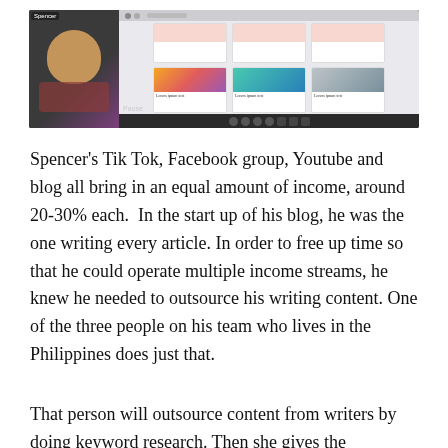[Figure (screenshot): Screenshot of a video call or screen recording showing a person (Spencer) on the left side against a purple background, and a content management interface on the right showing blog cards with images.]
Spencer's Tik Tok, Facebook group, Youtube and blog all bring in an equal amount of income, around 20-30% each.  In the start up of his blog, he was the one writing every article. In order to free up time so that he could operate multiple income streams, he knew he needed to outsource his writing content. One of the three people on his team who lives in the Philippines does just that.
That person will outsource content from writers by doing keyword research. Then she gives the keywords to the writers that she hires, along with other writing instructions. These instructions include where to place images, internal linkings, and blogging structure and